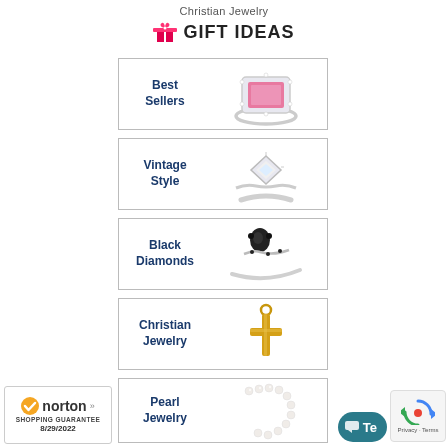Christian Jewelry
GIFT IDEAS
[Figure (photo): Card with 'Best Sellers' label and pink gemstone ring photo]
[Figure (photo): Card with 'Vintage Style' label and silver vintage ring photo]
[Figure (photo): Card with 'Black Diamonds' label and black diamond ring photo]
[Figure (photo): Card with 'Christian Jewelry' label and gold cross pendant photo]
[Figure (photo): Card with 'Pearl Jewelry' label and pearl necklace photo]
[Figure (logo): Norton Shopping Guarantee badge, date 8/29/2022]
[Figure (other): Chat button and reCAPTCHA widget]